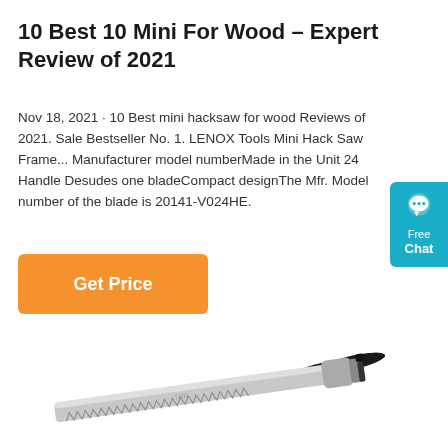10 Best 10 Mini For Wood – Expert Review of 2021
Nov 18, 2021 · 10 Best mini hacksaw for wood Reviews of 2021. Sale Bestseller No. 1. LENOX Tools Mini Hack Saw Frame... Manufacturer model numberMade in the Unit 24 Handle Desudes one bladeCompact designThe Mfr. Model number of the blade is 20141-V024HE.
Get Price
[Figure (photo): A folding mini hacksaw with a serrated blade and black rubber-wrapped handles, displayed diagonally against a white background.]